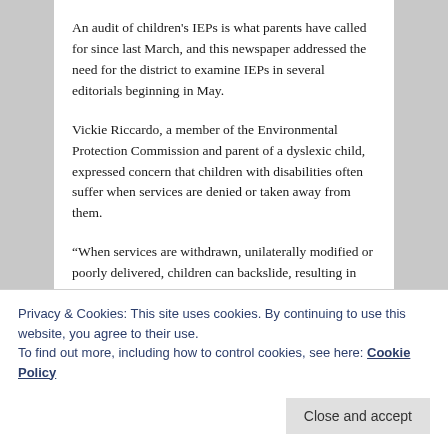An audit of children's IEPs is what parents have called for since last March, and this newspaper addressed the need for the district to examine IEPs in several editorials beginning in May.
Vickie Riccardo, a member of the Environmental Protection Commission and parent of a dyslexic child, expressed concern that children with disabilities often suffer when services are denied or taken away from them.
“When services are withdrawn, unilaterally modified or poorly delivered, children can backslide, resulting in the need for even more services and, tragically, lost potential,”
Privacy & Cookies: This site uses cookies. By continuing to use this website, you agree to their use.
To find out more, including how to control cookies, see here: Cookie Policy
whose rights were violated are in the process of receiving